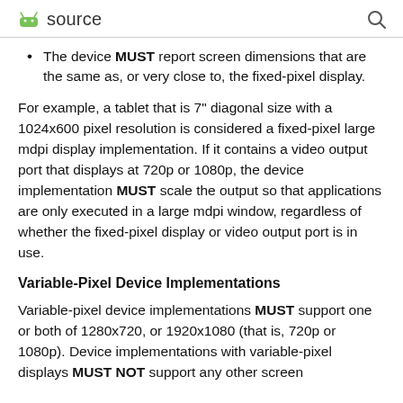source
The device MUST report screen dimensions that are the same as, or very close to, the fixed-pixel display.
For example, a tablet that is 7" diagonal size with a 1024x600 pixel resolution is considered a fixed-pixel large mdpi display implementation. If it contains a video output port that displays at 720p or 1080p, the device implementation MUST scale the output so that applications are only executed in a large mdpi window, regardless of whether the fixed-pixel display or video output port is in use.
Variable-Pixel Device Implementations
Variable-pixel device implementations MUST support one or both of 1280x720, or 1920x1080 (that is, 720p or 1080p). Device implementations with variable-pixel displays MUST NOT support any other screen